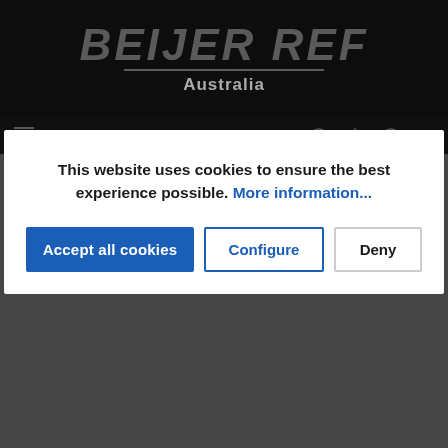[Figure (logo): Beijer Ref Australia logo on dark background with italic bold text and horizontal underline rule]
This website uses cookies to ensure the best experience possible. More information...
Accept all cookies
Configure
Deny
Privacy Policy
ABOUT THIS PRIVACY POLICY
BEIJER REF AUSTRALIA (ABN 62 133 913 283) is committed to compliance with privacy laws which apply